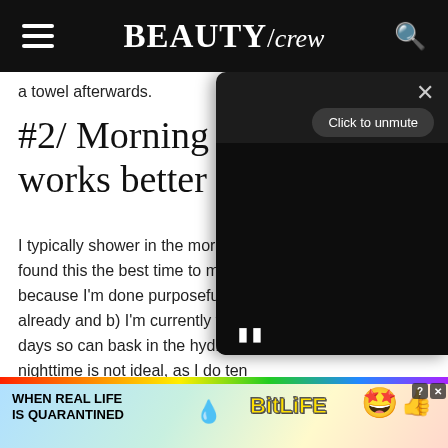BEAUTY/crew
a towel afterwards.
#2/ Morning body works better for m
I typically shower in the mornings found this the best time to moistu because I'm done purposefully s already and b) I'm currently work days so can bask in the hydration nighttime is not ideal, as I do tend
[Figure (screenshot): Video player overlay with dark background, X close button, 'Click to unmute' button, and pause icon at bottom left]
[Figure (infographic): BitLife advertisement banner with rainbow stripe, text 'WHEN REAL LIFE IS QUARANTINED', BitLife logo, and emoji characters]